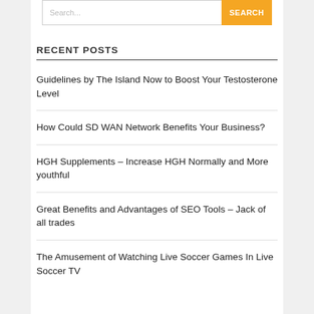Search...  SEARCH
RECENT POSTS
Guidelines by The Island Now to Boost Your Testosterone Level
How Could SD WAN Network Benefits Your Business?
HGH Supplements – Increase HGH Normally and More youthful
Great Benefits and Advantages of SEO Tools – Jack of all trades
The Amusement of Watching Live Soccer Games In Live Soccer TV